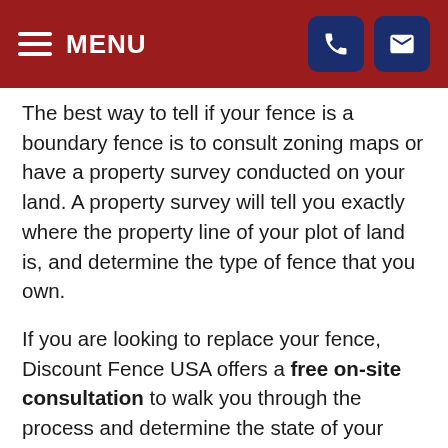MENU
The best way to tell if your fence is a boundary fence is to consult zoning maps or have a property survey conducted on your land. A property survey will tell you exactly where the property line of your plot of land is, and determine the type of fence that you own.
If you are looking to replace your fence, Discount Fence USA offers a free on-site consultation to walk you through the process and determine the state of your land. During the consultation we can determine whether or not your fence is on a property line.
Boundary Fence Ownership